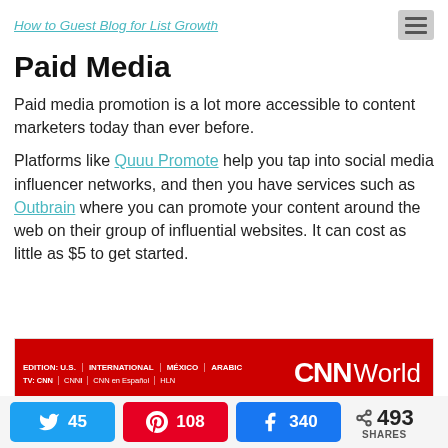How to Guest Blog for List Growth
Paid Media
Paid media promotion is a lot more accessible to content marketers today than ever before.
Platforms like Quuu Promote help you tap into social media influencer networks, and then you have services such as Outbrain where you can promote your content around the web on their group of influential websites. It can cost as little as $5 to get started.
[Figure (screenshot): CNN World website header/navigation bar showing edition navigation (U.S., International, Mexico, Arabic) and CNN World logo on red background]
Twitter: 45  Pinterest: 108  Facebook: 340  493 SHARES